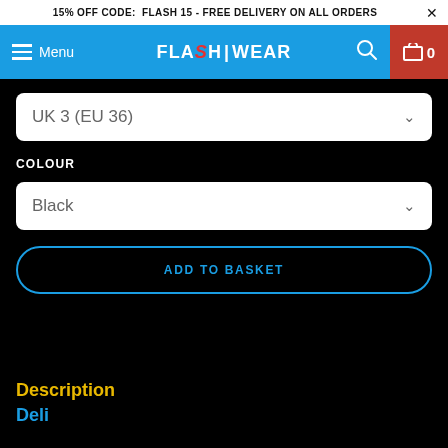15% OFF CODE: FLASH 15 - FREE DELIVERY ON ALL ORDERS ×
Menu FLASH|WEAR 🔍 0
UK 3 (EU 36)
COLOUR
Black
ADD TO BASKET
Description
Deli...